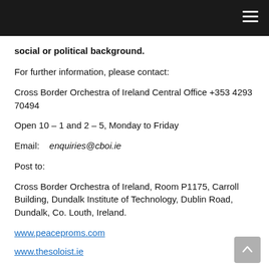social or political background.
For further information, please contact:
Cross Border Orchestra of Ireland Central Office +353 4293 70494
Open 10 – 1 and 2 – 5, Monday to Friday
Email:    enquiries@cboi.ie
Post to:
Cross Border Orchestra of Ireland, Room P1175, Carroll Building, Dundalk Institute of Technology, Dublin Road, Dundalk, Co. Louth, Ireland.
www.peaceproms.com
www.thesoloist.ie